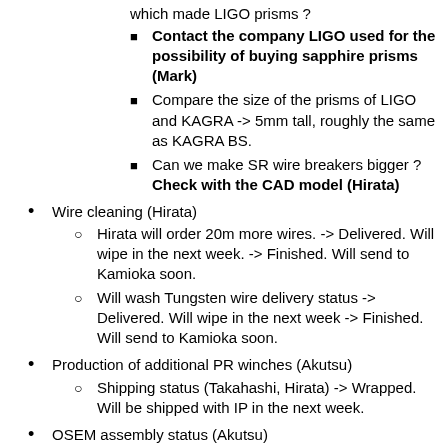which made LIGO prisms ?
Contact the company LIGO used for the possibility of buying sapphire prisms (Mark)
Compare the size of the prisms of LIGO and KAGRA -> 5mm tall, roughly the same as KAGRA BS.
Can we make SR wire breakers bigger ? Check with the CAD model (Hirata)
Wire cleaning (Hirata)
Hirata will order 20m more wires. -> Delivered. Will wipe in the next week. -> Finished. Will send to Kamioka soon.
Will wash Tungsten wire delivery status -> Delivered. Will wipe in the next week -> Finished. Will send to Kamioka soon.
Production of additional PR winches (Akutsu)
Shipping status (Takahashi, Hirata) -> Wrapped. Will be shipped with IP in the next week.
OSEM assembly status (Akutsu)
RM production (Takahashi)